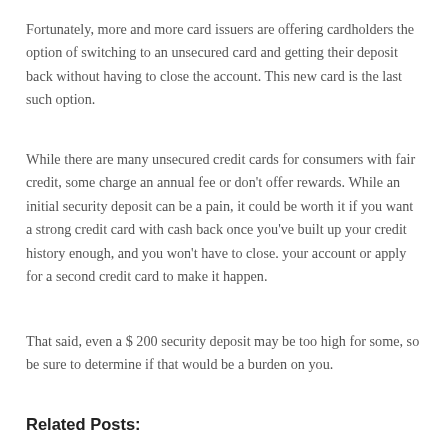Fortunately, more and more card issuers are offering cardholders the option of switching to an unsecured card and getting their deposit back without having to close the account. This new card is the last such option.
While there are many unsecured credit cards for consumers with fair credit, some charge an annual fee or don't offer rewards. While an initial security deposit can be a pain, it could be worth it if you want a strong credit card with cash back once you've built up your credit history enough, and you won't have to close. your account or apply for a second credit card to make it happen.
That said, even a $ 200 security deposit may be too high for some, so be sure to determine if that would be a burden on you.
Related Posts: